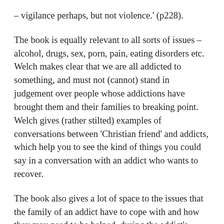– vigilance perhaps, but not violence.' (p228).
The book is equally relevant to all sorts of issues – alcohol, drugs, sex, porn, pain, eating disorders etc.  Welch makes clear that we are all addicted to something, and must not (cannot) stand in judgement over people whose addictions have brought them and their families to breaking point.  Welch gives (rather stilted) examples of conversations between 'Christian friend' and addicts, which help you to see the kind of things you could say in a conversation with an addict who wants to recover.
The book also gives a lot of space to the issues that the family of an addict have to cope with and how they may need to be helped, during the addict's recovery as well as during active addiction.  Each chapter ends with practical questions for you as an addict and as you try to help someone else and, as the book ends, Welch helps us to consider reconciliation with those who have been harmed